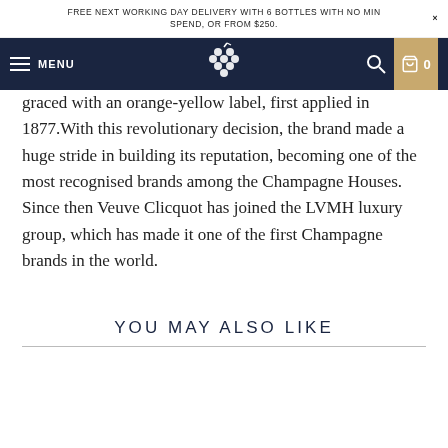FREE NEXT WORKING DAY DELIVERY WITH 6 BOTTLES WITH NO MIN SPEND, OR FROM $250.
MENU
graced with an orange-yellow label, first applied in 1877.With this revolutionary decision, the brand made a huge stride in building its reputation, becoming one of the most recognised brands among the Champagne Houses. Since then Veuve Clicquot has joined the LVMH luxury group, which has made it one of the first Champagne brands in the world.
YOU MAY ALSO LIKE